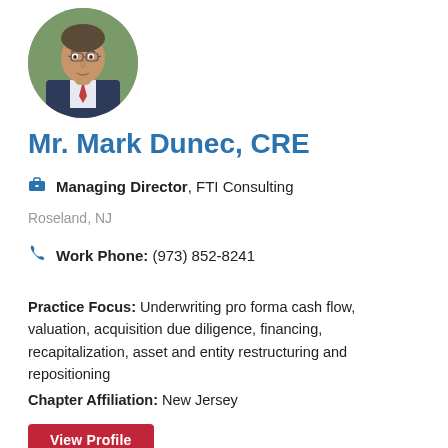[Figure (photo): Headshot photo of Mr. Mark Dunec, CRE, a man in a suit with a tie, circular crop]
Mr. Mark Dunec, CRE
Managing Director, FTI Consulting
Roseland, NJ
Work Phone: (973) 852-8241
Practice Focus: Underwriting pro forma cash flow, valuation, acquisition due diligence, financing, recapitalization, asset and entity restructuring and repositioning
Chapter Affiliation: New Jersey
View Profile